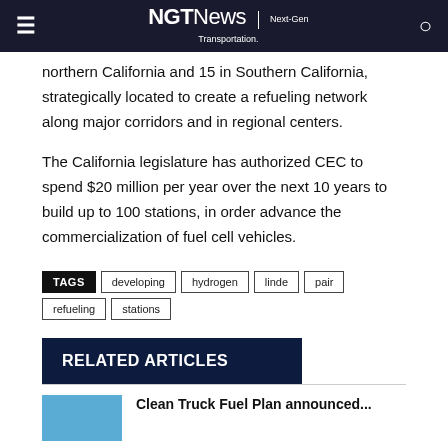NGTNews | Next-Gen Transportation.
northern California and 15 in Southern California, strategically located to create a refueling network along major corridors and in regional centers.
The California legislature has authorized CEC to spend $20 million per year over the next 10 years to build up to 100 stations, in order advance the commercialization of fuel cell vehicles.
TAGS  developing  hydrogen  linde  pair  refueling  stations
RELATED ARTICLES